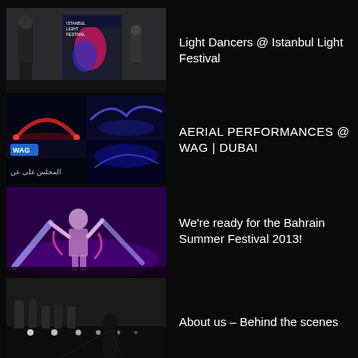[Figure (photo): Person standing next to a Light Festival poster in what appears to be an indoor venue]
Light Dancers @ Istanbul Light Festival
[Figure (photo): Collage of aerial performance images at WAG Dubai, including light effects and Arabic text banner]
AERIAL PERFORMANCES @ WAG | DUBAI
[Figure (photo): Performer with light beams on stage in purple lighting at Bahrain Summer Festival]
We're ready for the Bahrain Summer Festival 2013!
[Figure (photo): Black and white behind-the-scenes photo with silhouetted figure walking on a stage or runway with lights]
About us – Behind the scenes